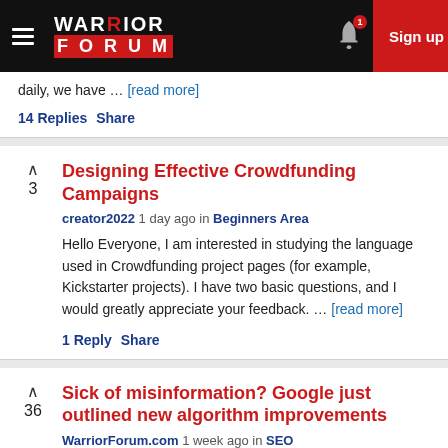Warrior Forum — Sign up
daily, we have … [read more]
14 Replies   Share
Designing Effective Crowdfunding Campaigns
creator2022 1 day ago in Beginners Area
Hello Everyone, I am interested in studying the language used in Crowdfunding project pages (for example, Kickstarter projects). I have two basic questions, and I would greatly appreciate your feedback. … [read more]
1 Reply   Share
Sick of misinformation? Google just outlined new algorithm improvements
WarriorForum.com 1 week ago in SEO
A new article on Social Media Today reports that